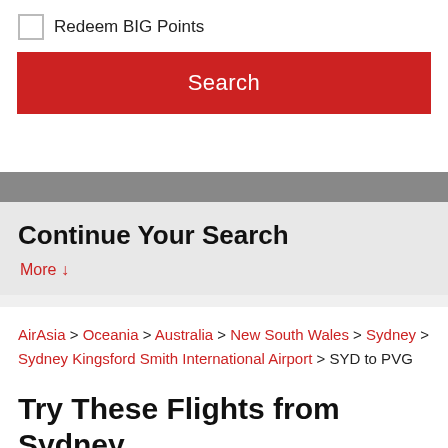Redeem BIG Points
Search
Continue Your Search
More ↓
AirAsia > Oceania > Australia > New South Wales > Sydney > Sydney Kingsford Smith International Airport > SYD to PVG
Try These Flights from Sydney (SYD) to Other Exciting